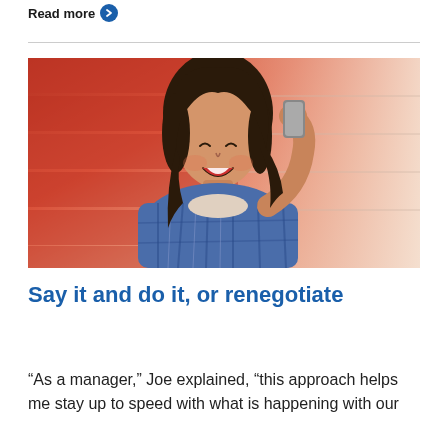Read more
[Figure (photo): A smiling young woman with dark hair talking on a smartphone, wearing a blue plaid shirt, standing against a red/orange wall with warm lighting.]
Say it and do it, or renegotiate
“As a manager,” Joe explained, “this approach helps me stay up to speed with what is happening with our